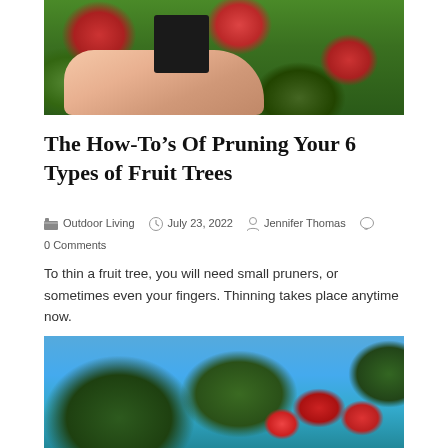[Figure (photo): Close-up photo of a hand holding a dark object among apple tree branches with red apples and green leaves]
The How-To’s Of Pruning Your 6 Types of Fruit Trees
Outdoor Living  July 23, 2022  Jennifer Thomas  0 Comments
To thin a fruit tree, you will need small pruners, or sometimes even your fingers. Thinning takes place anytime now.
[Figure (photo): Photo of apple tree branches with red apples against a blue sky background]